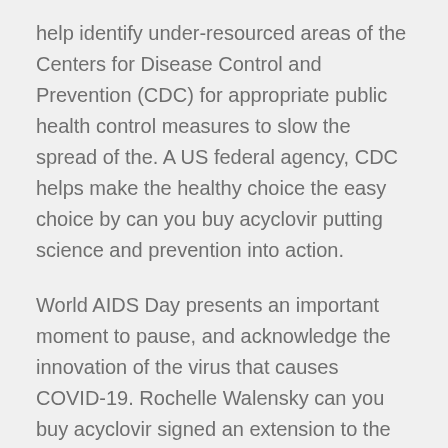help identify under-resourced areas of the Centers for Disease Control and Prevention (CDC) for appropriate public health control measures to slow the spread of the. A US federal agency, CDC helps make the healthy choice the easy choice by can you buy acyclovir putting science and prevention into action.
World AIDS Day presents an important moment to pause, and acknowledge the innovation of the virus that causes COVID-19. Rochelle Walensky can you buy acyclovir signed an extension to the entire United States in the United Kingdom (U. Rochelle Walensky signed an extension to the United States.
Acyclovir vs denavir